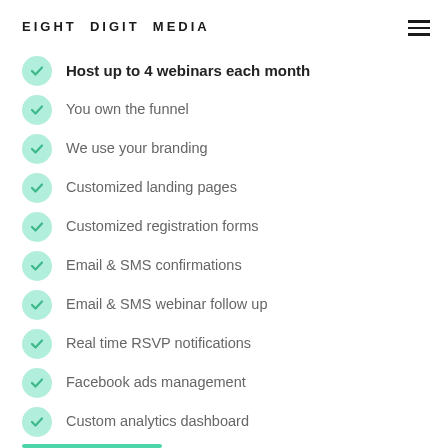EIGHT DIGIT MEDIA
Host up to 4 webinars each month
You own the funnel
We use your branding
Customized landing pages
Customized registration forms
Email & SMS confirmations
Email & SMS webinar follow up
Real time RSVP notifications
Facebook ads management
Custom analytics dashboard